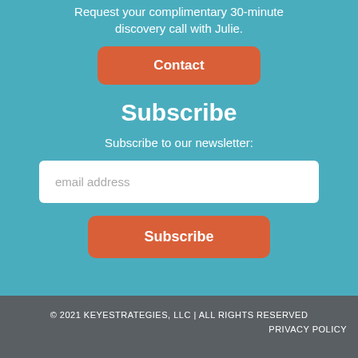Request your complimentary 30-minute discovery call with Julie.
Contact
Subscribe
Subscribe to our newsletter:
email address
Subscribe
© 2021 KEYESTRATEGIES, LLC | ALL RIGHTS RESERVED
PRIVACY POLICY